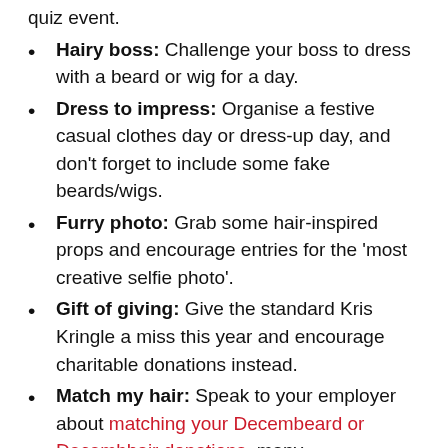quiz event.
Hairy boss: Challenge your boss to dress with a beard or wig for a day.
Dress to impress: Organise a festive casual clothes day or dress-up day, and don't forget to include some fake beards/wigs.
Furry photo: Grab some hair-inspired props and encourage entries for the 'most creative selfie photo'.
Gift of giving: Give the standard Kris Kringle a miss this year and encourage charitable donations instead.
Match my hair: Speak to your employer about matching your Decembeard or Decembhair donations, many